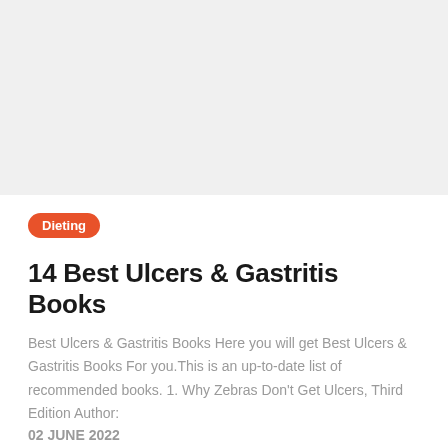[Figure (photo): Gray placeholder banner image at top of page]
Dieting
14 Best Ulcers & Gastritis Books
Best Ulcers & Gastritis Books Here you will get Best Ulcers & Gastritis Books For you.This is an up-to-date list of recommended books. 1. Why Zebras Don't Get Ulcers, Third Edition Author:
02 JUNE 2022